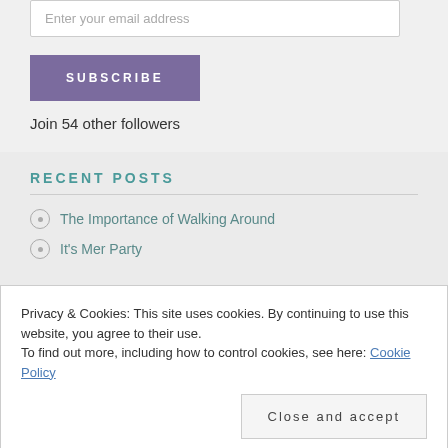Enter your email address
[Figure (other): Purple SUBSCRIBE button]
Join 54 other followers
RECENT POSTS
The Importance of Walking Around
It's Mer Party
Privacy & Cookies: This site uses cookies. By continuing to use this website, you agree to their use.
To find out more, including how to control cookies, see here: Cookie Policy
[Figure (other): Close and accept button]